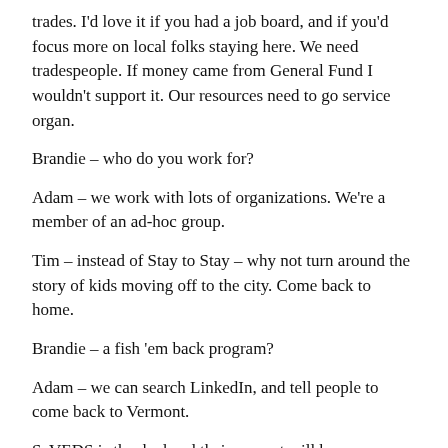trades. I'd love it if you had a job board, and if you'd focus more on local folks staying here. We need tradespeople. If money came from General Fund I wouldn't support it. Our resources need to go service organ.
Brandie – who do you work for?
Adam – we work with lots of organizations. We're a member of an ad-hoc group.
Tim – instead of Stay to Stay – why not turn around the story of kids moving off to the city. Come back to home.
Brandie – a fish 'em back program?
Adam – we can search LinkedIn, and tell people to come back to Vermont.
SeVEDS is thanked and their request will be considered, and decided upon at a later time.